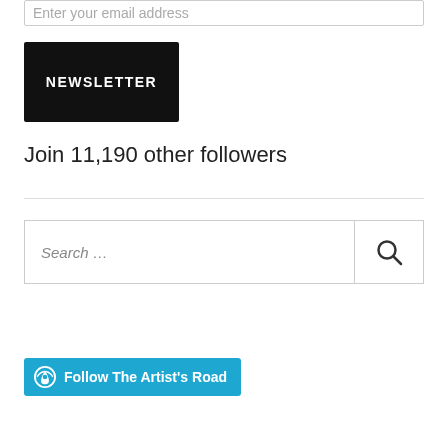Enter your email address
NEWSLETTER
Join 11,190 other followers
Search …
Follow The Artist's Road